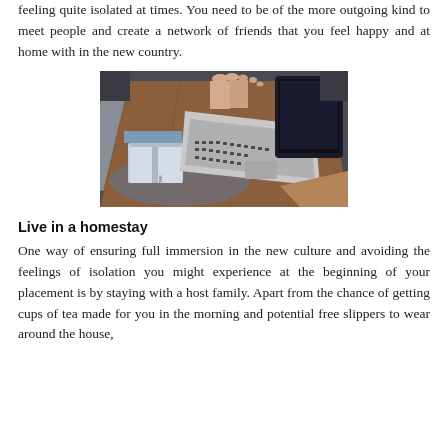feeling quite isolated at times. You need to be of the more outgoing kind to meet people and create a network of friends that you feel happy and at home with in the new country.
[Figure (photo): Overhead/top-down view of a wooden coffee table with a laptop, tablet, books, and bare feet visible. Items arranged on a rug.]
Live in a homestay
One way of ensuring full immersion in the new culture and avoiding the feelings of isolation you might experience at the beginning of your placement is by staying with a host family. Apart from the chance of getting cups of tea made for you in the morning and potential free slippers to wear around the house,